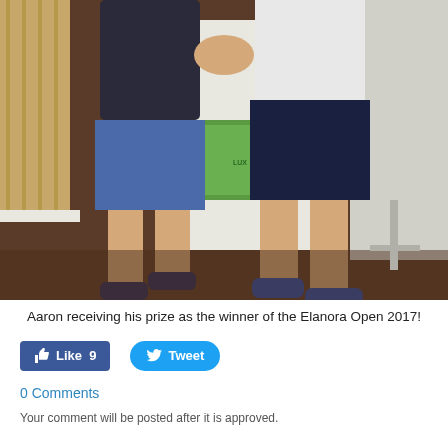[Figure (photo): Two people shaking hands in an indoor setting with wooden flooring, both wearing shorts and sneakers. One in a dark shirt and blue shorts, the other in a white shirt and dark shorts.]
Aaron receiving his prize as the winner of the Elanora Open 2017!
[Figure (infographic): Social sharing buttons: Facebook Like button showing 9 likes, and a Twitter Tweet button]
0 Comments
Your comment will be posted after it is approved.